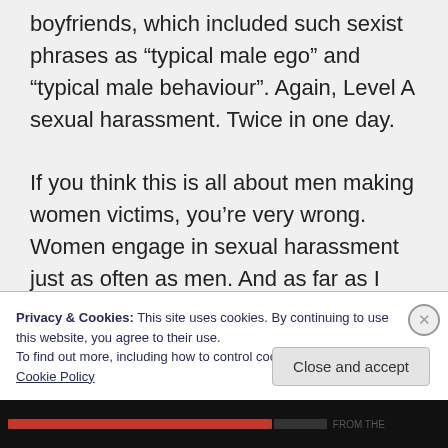boyfriends, which included such sexist phrases as “typical male ego” and “typical male behaviour”. Again, Level A sexual harassment. Twice in one day.
If you think this is all about men making women victims, you’re very wrong. Women engage in sexual harassment just as often as men. And as far as I can see, they don’t
Privacy & Cookies: This site uses cookies. By continuing to use this website, you agree to their use.
To find out more, including how to control cookies, see here: Cookie Policy
Close and accept